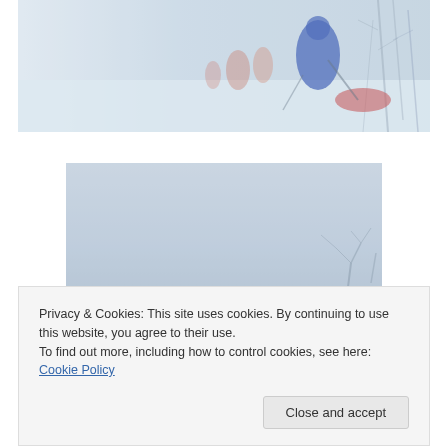[Figure (photo): People skiing/trekking through a snowstorm in a blizzard, one wearing a blue jacket pulling a red sled, others visible in background through snow and fog, bare trees on the right side]
[Figure (photo): Hazy grey-blue sky with barely visible bare tree branches at the bottom right, very minimal detail visible, muted blue-grey tones]
Privacy & Cookies: This site uses cookies. By continuing to use this website, you agree to their use.
To find out more, including how to control cookies, see here: Cookie Policy
Close and accept